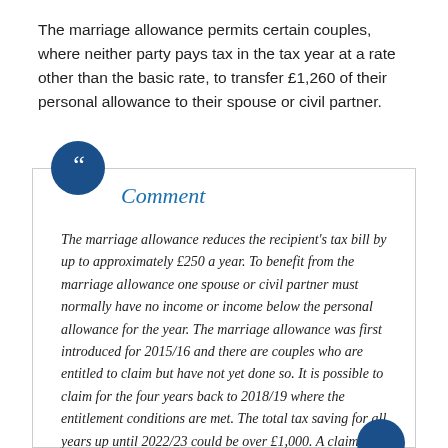The marriage allowance permits certain couples, where neither party pays tax in the tax year at a rate other than the basic rate, to transfer £1,260 of their personal allowance to their spouse or civil partner.
Comment
The marriage allowance reduces the recipient's tax bill by up to approximately £250 a year. To benefit from the marriage allowance one spouse or civil partner must normally have no income or income below the personal allowance for the year. The marriage allowance was first introduced for 2015/16 and there are couples who are entitled to claim but have not yet done so. It is possible to claim for the four years back to 2018/19 where the entitlement conditions are met. The total tax saving for all years up until 2022/23 could be over £1,000. A claim for 2018/19 will need to be made by 5 April 2023.